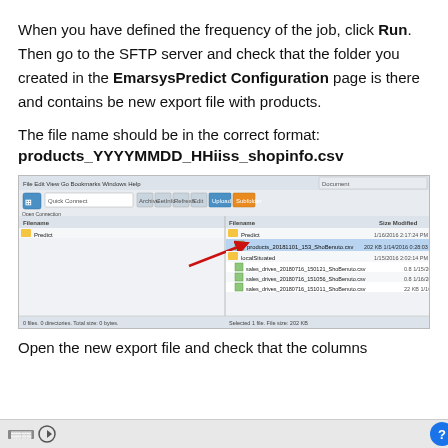When you have defined the frequency of the job, click Run. Then go to the SFTP server and check that the folder you created in the EmarsysPredict Configuration page is there and contains be new export file with products.
The file name should be in the correct format:
products_YYYYMMDD_HHiiss_shopinfo.csv
[Figure (screenshot): Screenshot of an SFTP client showing a file browser with a highlighted file named products_20181101_153_ShoBenuto.csv inside a Predict folder, with a red arrow pointing to it.]
Open the new export file and check that the columns